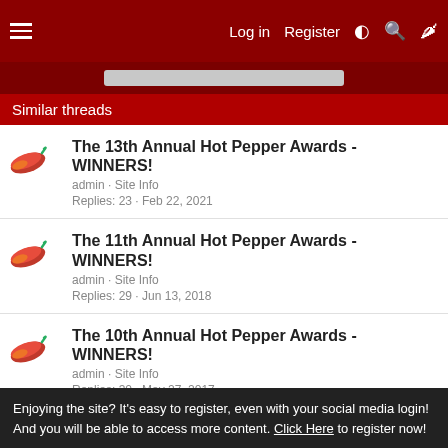Log in  Register
Similar threads
The 13th Annual Hot Pepper Awards - WINNERS!
admin · Site Info
Replies: 23 · Feb 22, 2021
The 11th Annual Hot Pepper Awards - WINNERS!
admin · Site Info
Replies: 29 · Jun 13, 2018
The 10th Annual Hot Pepper Awards - WINNERS!
admin · Site Info
Replies: 30 · May 27, 2017
Enjoying the site? It's easy to register, even with your social media login! And you will be able to access more content. Click Here to register now!